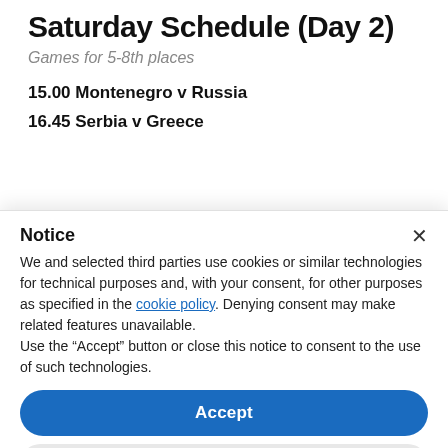Saturday Schedule (Day 2)
Games for 5-8th places
15.00 Montenegro v Russia
16.45 Serbia v Greece
Notice
We and selected third parties use cookies or similar technologies for technical purposes and, with your consent, for other purposes as specified in the cookie policy. Denying consent may make related features unavailable.
Use the "Accept" button or close this notice to consent to the use of such technologies.
Accept
Learn more and customize